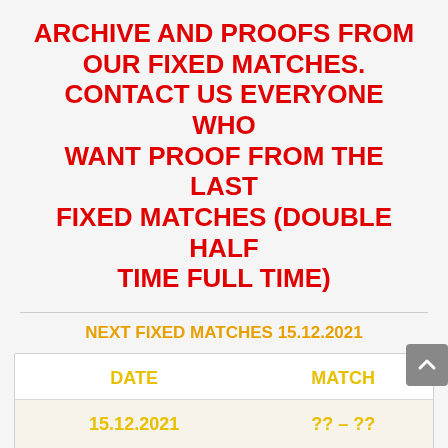ARCHIVE AND PROOFS FROM OUR FIXED MATCHES. CONTACT US EVERYONE WHO WANT PROOF FROM THE LAST FIXED MATCHES (DOUBLE HALF TIME FULL TIME)
NEXT FIXED MATCHES 15.12.2021
| DATE | MATCH |
| --- | --- |
| 15.12.2021 | ?? – ?? |
| 15.12.2021 | ?? – ?? |